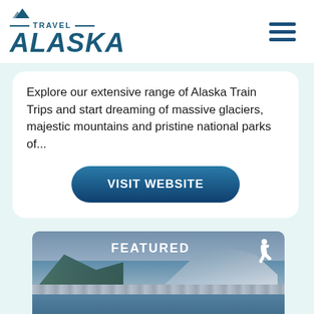[Figure (logo): Travel Alaska logo with mountain icon, horizontal lines, and stylized italic ALASKA text in dark blue]
[Figure (illustration): Hamburger/menu icon with three horizontal dark blue lines]
Explore our extensive range of Alaska Train Trips and start dreaming of massive glaciers, majestic mountains and pristine national parks of...
VISIT WEBSITE
[Figure (photo): Featured harbor photo showing boats docked at a marina with snow-capped mountains in the background, labeled FEATURED with a wheelchair accessibility icon]